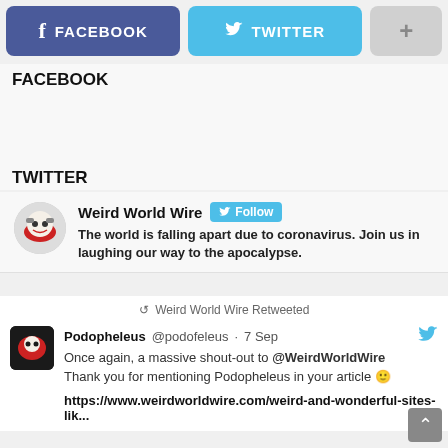[Figure (screenshot): Top navigation bar with Facebook button (blue-purple), Twitter button (light blue), and plus button (gray)]
FACEBOOK
TWITTER
[Figure (screenshot): Twitter profile card for Weird World Wire with Follow button and bio text]
The world is falling apart due to coronavirus. Join us in laughing our way to the apocalypse.
Weird World Wire Retweeted
Podopheleus @podofeleus · 7 Sep
Once again, a massive shout-out to @WeirdWorldWire Thank you for mentioning Podopheleus in your article 🙂
https://www.weirdworldwire.com/weird-and-wonderful-sites-lik...